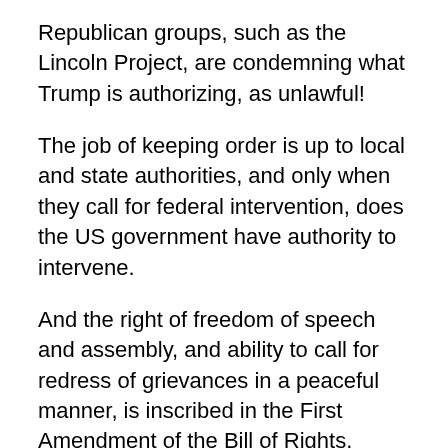Republican groups, such as the Lincoln Project, are condemning what Trump is authorizing, as unlawful!
The job of keeping order is up to local and state authorities, and only when they call for federal intervention, does the US government have authority to intervene.
And the right of freedom of speech and assembly, and ability to call for redress of grievances in a peaceful manner, is inscribed in the First Amendment of the Bill of Rights.
This alone, forgetting for the moment all of the other multitude of violations of law, would be enough to impeach and remove both Donald Trump and William Barr, for corruption and abuse of power in office!